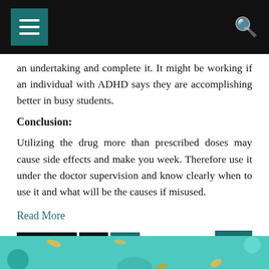menu and search icons
an undertaking and complete it. It might be working if an individual with ADHD says they are accomplishing better in busy students.
Conclusion:
Utilizing the drug more than prescribed doses may cause side effects and make you week. Therefore use it under the doctor supervision and know clearly when to use it and what will be the causes if misused.
Read More
Previous 1 2 [up arrow]
[Figure (photo): Teal/turquoise colored background with decorative elements, partial view of a person]